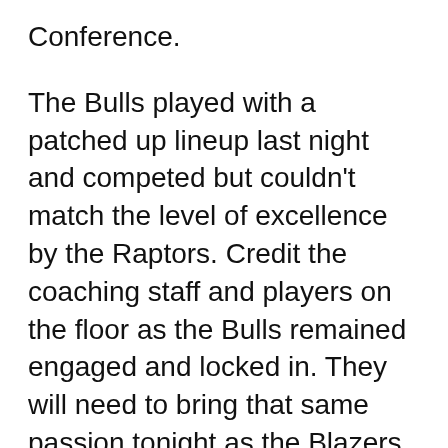Conference.
The Bulls played with a patched up lineup last night and competed but couldn't match the level of excellence by the Raptors. Credit the coaching staff and players on the floor as the Bulls remained engaged and locked in. They will need to bring that same passion tonight as the Blazers will attempt to deal with life without Nurkic.
Thanks for reading CCI. Reach out:
cswirsky@bulls.com or Twitter: @ctsbulls